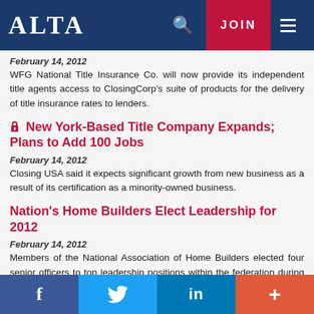ALTA
February 14, 2012
WFG National Title Insurance Co. will now provide its independent title agents access to ClosingCorp's suite of products for the delivery of title insurance rates to lenders.
New York-Based Title Company Expands; Plans to Add 100 Jobs
February 14, 2012
Closing USA said it expects significant growth from new business as a result of its certification as a minority-owned business.
Nation's Home Builders Elect Leadership for 2012
February 14, 2012
Members of the National Association of Home Builders elected four senior officers to top leadership positions within the federation during the association's International
f  Twitter  in  +